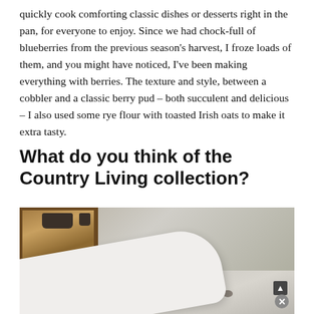quickly cook comforting classic dishes or desserts right in the pan, for everyone to enjoy. Since we had chock-full of blueberries from the previous season's harvest, I froze loads of them, and you might have noticed, I've been making everything with berries. The texture and style, between a cobbler and a classic berry pud – both succulent and delicious – I also used some rye flour with toasted Irish oats to make it extra tasty.
What do you think of the Country Living collection?
[Figure (photo): Photo of a white cloth/towel draped over what appears to be a wooden drawer or chest, photographed on a stone or concrete floor surface. The wood has metal handles visible at the top.]